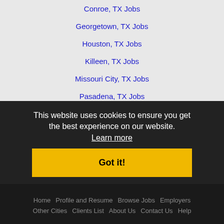Conroe, TX Jobs
Georgetown, TX Jobs
Houston, TX Jobs
Killeen, TX Jobs
Missouri City, TX Jobs
Pasadena, TX Jobs
Pearland, TX Jobs
Pflugerville, TX Jobs
Round Rock, TX Jobs
Sugar Land, TX Jobs
Temple, TX Jobs
The Woodlands, TX Jobs
Waco, TX Jobs
This website uses cookies to ensure you get the best experience on our website. Learn more
Got it!
Home  Profile and Resume  Browse Jobs  Employers  Other Cities  Clients List  About Us  Contact Us  Help